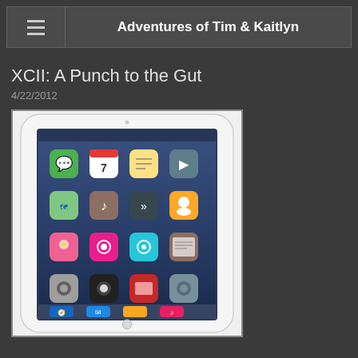Adventures of Tim & Kaitlyn
XCII: A Punch to the Gut
4/22/2012
[Figure (photo): White iPad (3rd generation) showing home screen with app icons including Messages, Calendar, Notes, Videos, Maps, iTunes, Photos, iPod and others displayed on a blue gradient background. The device has a white bezel and is shown in portrait orientation.]